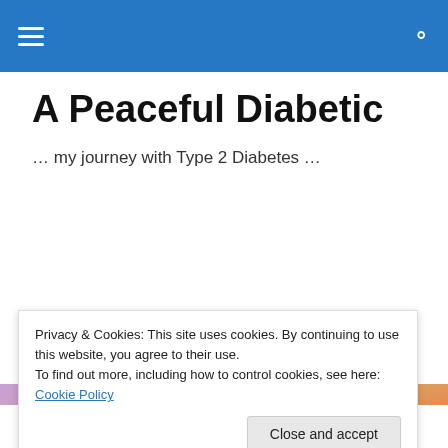Navigation bar with hamburger menu and search icon
A Peaceful Diabetic
… my journey with Type 2 Diabetes …
[Figure (illustration): Blog banner image with cursive text 'Kara Aguiar - A Peaceful Diabetic' and subtitle 'Adventurer · Creative soul · Foodie · Wellness Coach · Wife', with four circular portrait photos against a sunset sky background]
Privacy & Cookies: This site uses cookies. By continuing to use this website, you agree to their use.
To find out more, including how to control cookies, see here: Cookie Policy
Close and accept
Wednesday Wisdom –